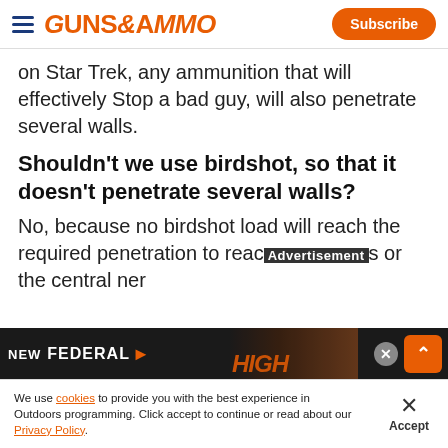GUNS&AMMO — Subscribe
on Star Trek, any ammunition that will effectively Stop a bad guy, will also penetrate several walls.
Shouldn't we use birdshot, so that it doesn't penetrate several walls?
No, because no birdshot load will reach the required penetration to reach [vital organs] or the central ner[vous system]...
[Figure (screenshot): Advertisement banner for Federal ammunition with close and expand buttons]
We use cookies to provide you with the best experience in Outdoors programming. Click accept to continue or read about our Privacy Policy.